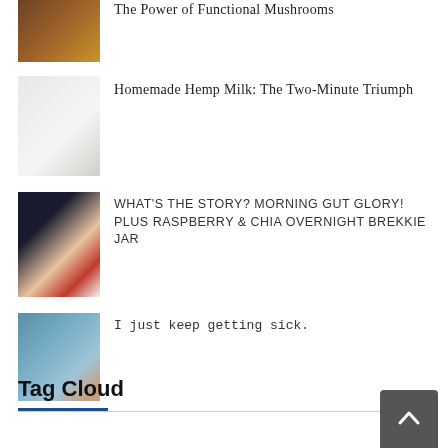The Power of Functional Mushrooms
Homemade Hemp Milk: The Two-Minute Triumph
WHAT'S THE STORY? MORNING GUT GLORY! PLUS RASPBERRY & CHIA OVERNIGHT BREKKIE JAR
I just keep getting sick.
Tag Cloud